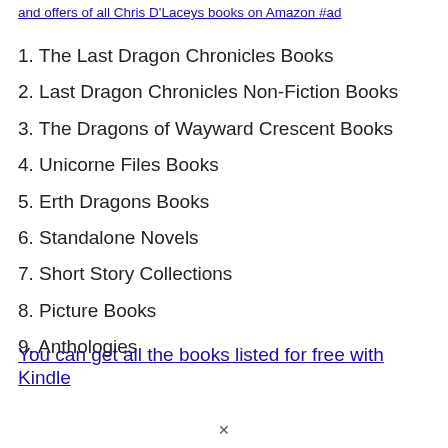and offers of all Chris D'Laceys books on Amazon #ad
1. The Last Dragon Chronicles Books
2. Last Dragon Chronicles Non-Fiction Books
3. The Dragons of Wayward Crescent Books
4. Unicorne Files Books
5. Erth Dragons Books
6. Standalone Novels
7. Short Story Collections
8. Picture Books
9. Anthologies
You can get all the books listed for free with Kindle